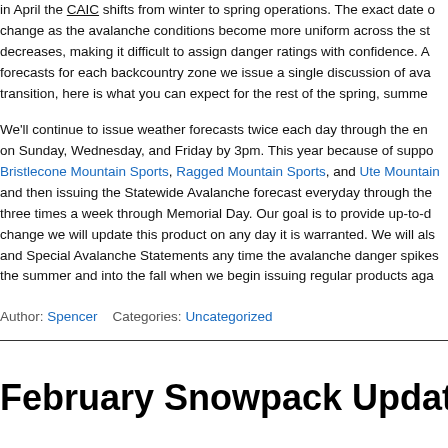in April the CAIC shifts from winter to spring operations. The exact date of this change as the avalanche conditions become more uniform across the state decreases, making it difficult to assign danger ratings with confidence. A forecasts for each backcountry zone we issue a single discussion of ava transition, here is what you can expect for the rest of the spring, summe
We'll continue to issue weather forecasts twice each day through the en on Sunday, Wednesday, and Friday by 3pm. This year because of suppo Bristlecone Mountain Sports, Ragged Mountain Sports, and Ute Mountain and then issuing the Statewide Avalanche forecast everyday through the three times a week through Memorial Day. Our goal is to provide up-to-d change we will update this product on any day it is warranted. We will als and Special Avalanche Statements any time the avalanche danger spikes the summer and into the fall when we begin issuing regular products aga
Author: Spencer    Categories: Uncategorized
February Snowpack Update